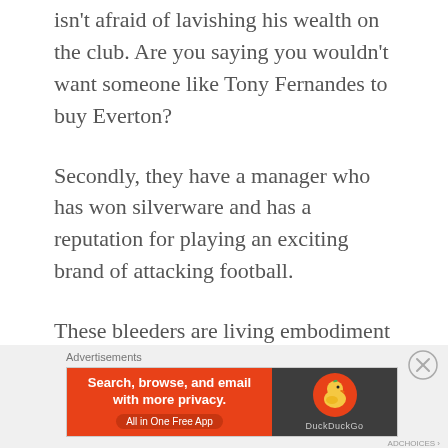isn't afraid of lavishing his wealth on the club. Are you saying you wouldn't want someone like Tony Fernandes to buy Everton?
Secondly, they have a manager who has won silverware and has a reputation for playing an exciting brand of attacking football.
These bleeders are living embodiment of the Premier League dream then. Instead
Advertisements
[Figure (other): DuckDuckGo advertisement banner: orange left section with text 'Search, browse, and email with more privacy. All in One Free App' and dark right section with DuckDuckGo duck logo]